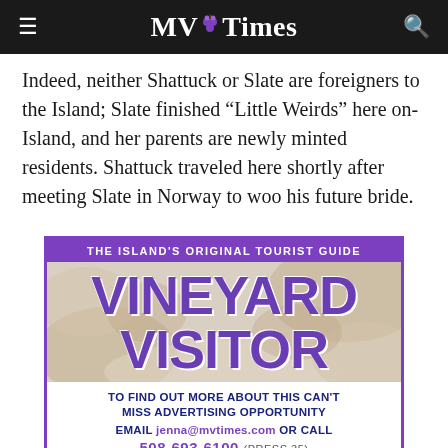MV Times
Indeed, neither Shattuck or Slate are foreigners to the Island; Slate finished “Little Weirds” here on-Island, and her parents are newly minted residents. Shattuck traveled here shortly after meeting Slate in Norway to woo his future bride.
[Figure (infographic): Advertisement for Vineyard Visitor, The Island's Original Tourist Guide. Purple banner at top, large purple VINEYARD VISITOR text overlaid on food photo background, with call to action text: TO FIND OUT MORE ABOUT THIS CAN'T MISS ADVERTISING OPPORTUNITY EMAIL jenna@mvtimes.com OR CALL 508-693-6100 (PRESS 35), MV Times logo at bottom.]